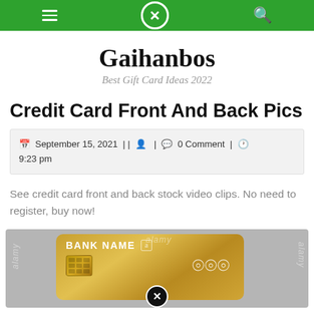Navigation bar with hamburger menu, close button, search icon
Gaihanbos
Best Gift Card Ideas 2022
Credit Card Front And Back Pics
September 15, 2021 | | [user icon] | [comment icon] 0 Comment | [clock icon] 9:23 pm
See credit card front and back stock video clips. No need to register, buy now!
[Figure (photo): Gold credit card with BANK NAME text, EMV chip, and NFC symbol on a grey background with Alamy watermarks]